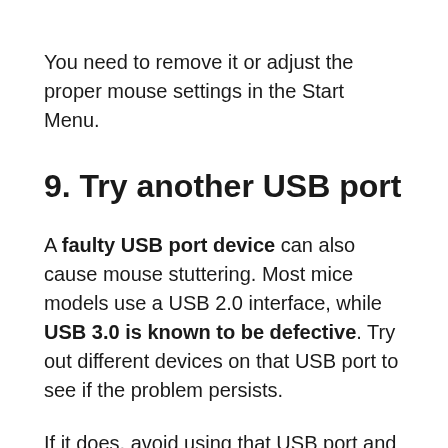You need to remove it or adjust the proper mouse settings in the Start Menu.
9. Try another USB port
A faulty USB port device can also cause mouse stuttering. Most mice models use a USB 2.0 interface, while USB 3.0 is known to be defective. Try out different devices on that USB port to see if the problem persists.
If it does, avoid using that USB port and either buy a USB port extender or get it fixed by a professional.